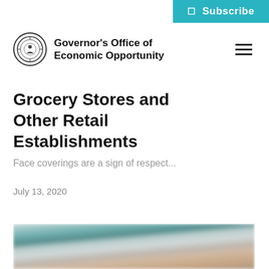Subscribe
Governor's Office of Economic Opportunity
Grocery Stores and Other Retail Establishments
Face coverings are a sign of respect...
July 13, 2020
[Figure (photo): Blurred close-up photo of hands on a keyboard or surface, with teal/dark tones in upper portion]